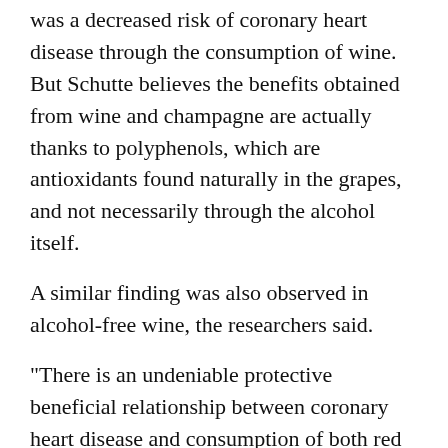was a decreased risk of coronary heart disease through the consumption of wine. But Schutte believes the benefits obtained from wine and champagne are actually thanks to polyphenols, which are antioxidants found naturally in the grapes, and not necessarily through the alcohol itself.
A similar finding was also observed in alcohol-free wine, the researchers said.
"There is an undeniable protective beneficial relationship between coronary heart disease and consumption of both red and white wine. However, this is only seen with coronary heart disease and none of the other cardiovascular diseases," Schutte said in a statement.
"This relationship is also seen for alcohol-free wine, so